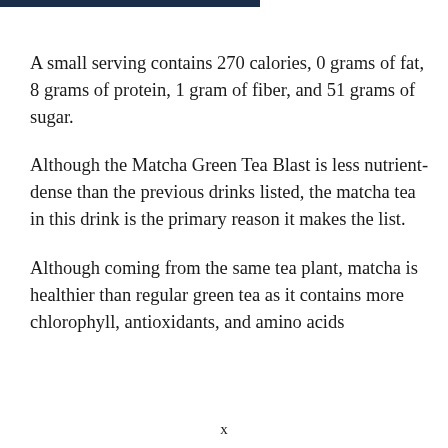A small serving contains 270 calories, 0 grams of fat, 8 grams of protein, 1 gram of fiber, and 51 grams of sugar.
Although the Matcha Green Tea Blast is less nutrient-dense than the previous drinks listed, the matcha tea in this drink is the primary reason it makes the list.
Although coming from the same tea plant, matcha is healthier than regular green tea as it contains more chlorophyll, antioxidants, and amino acids
x